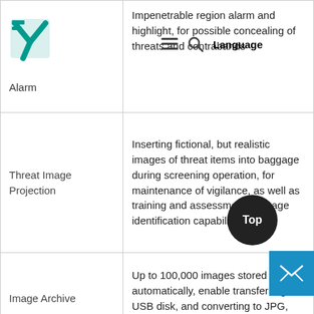| Feature | Description |
| --- | --- |
| High Density Region Alarm | Impenetrable region alarm and highlight, for possible concealing of threats and contrabands |
| Threat Image Projection | Inserting fictional, but realistic images of threat items into baggage during screening operation, for maintenance of vigilance, as well as training and assessment of image identification capability |
| Image Archive | Up to 100,000 images stored automatically, enable transferring to USB disk, and converting to JPG, BMP and other general formats |
| Miscellaneous Functions | Time/date display, counters, user management, system-on/y-on timers, power on self test in-diagnostic facilities, dual-d scanning, system log, sys... |